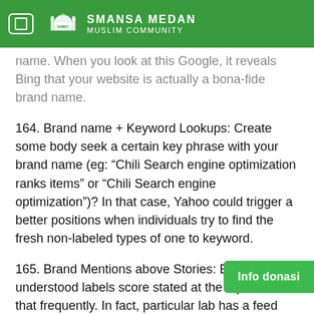Assalan
SMANSA MEDAN MUSLIM COMMUNITY
name. When you look at this Google, it reveals Bing that your website is actually a bona-fide brand name.
164. Brand name + Keyword Lookups: Create some body seek a certain key phrase with your brand name (eg: “Chili Search engine optimization ranks items” or “Chili Search engine optimization”)? In that case, Yahoo could trigger a better positions when individuals try to find the fresh non-labeled types of one to keyword.
165. Brand Mentions above Stories: Extremely understood labels score stated at the top Stories that frequently. In fact, particular lab has a feed away from reports from their own
Info donasi